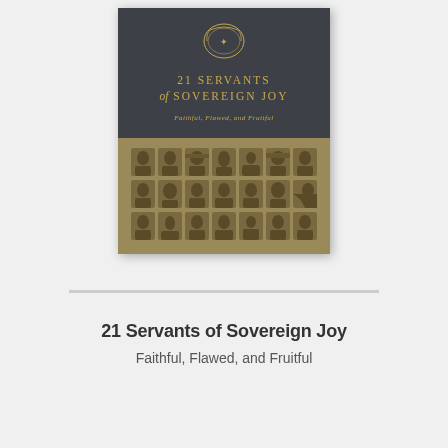[Figure (photo): Book cover of '21 Servants of Sovereign Joy: Faithful, Flawed, and Fruitful'. The cover has two sections: an upper dark gray section with a circular emblem, gold title text '21 SERVANTS of SOVEREIGN JOY' and subtitle 'Faithful, Flawed, and Fruitful' in gold italic script, and a lower tan/khaki section showing a 3-row grid of 21 historical portrait illustrations in a dark sepia style.]
21 Servants of Sovereign Joy
Faithful, Flawed, and Fruitful